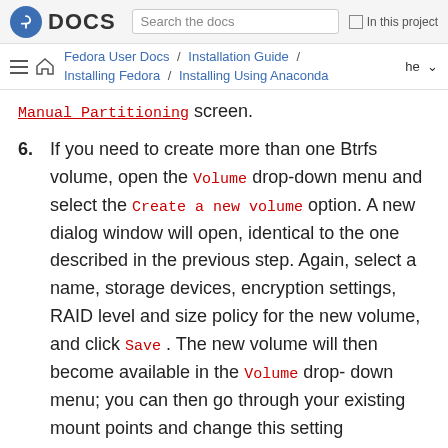Fedora DOCS | Search the docs | In this project
Fedora User Docs / Installation Guide / Installing Fedora / Installing Using Anaconda | he
Manual Partitioning screen.
6. If you need to create more than one Btrfs volume, open the Volume drop-down menu and select the Create a new volume option. A new dialog window will open, identical to the one described in the previous step. Again, select a name, storage devices, encryption settings, RAID level and size policy for the new volume, and click Save . The new volume will then become available in the Volume drop-down menu; you can then go through your existing mount points and change this setting